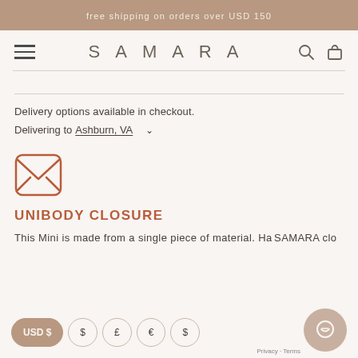free shipping on orders over USD 150
SAMARA
Delivery options available in checkout.
Delivering to Ashburn, VA
[Figure (illustration): Envelope/mail icon with rounded rectangle border in terracotta/brown color]
UNIBODY CLOSURE
This Mini is made from a single piece of material. Ha... SAMARA clo...